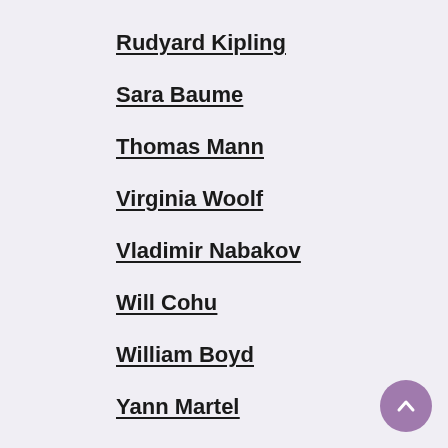Rudyard Kipling
Sara Baume
Thomas Mann
Virginia Woolf
Vladimir Nabakov
Will Cohu
William Boyd
Yann Martel
in the world